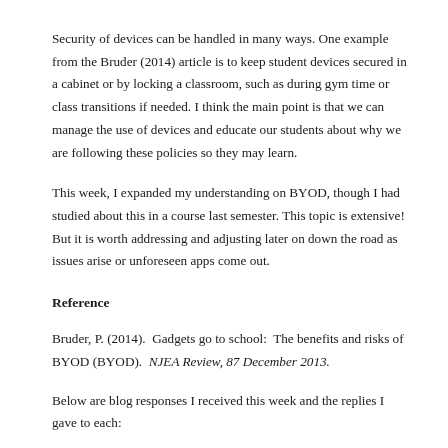Security of devices can be handled in many ways. One example from the Bruder (2014) article is to keep student devices secured in a cabinet or by locking a classroom, such as during gym time or class transitions if needed. I think the main point is that we can manage the use of devices and educate our students about why we are following these policies so they may learn.
This week, I expanded my understanding on BYOD, though I had studied about this in a course last semester. This topic is extensive! But it is worth addressing and adjusting later on down the road as issues arise or unforeseen apps come out.
Reference
Bruder, P. (2014). Gadgets go to school: The benefits and risks of BYOD (BYOD). NJEA Review, 87 December 2013.
Below are blog responses I received this week and the replies I gave to each: